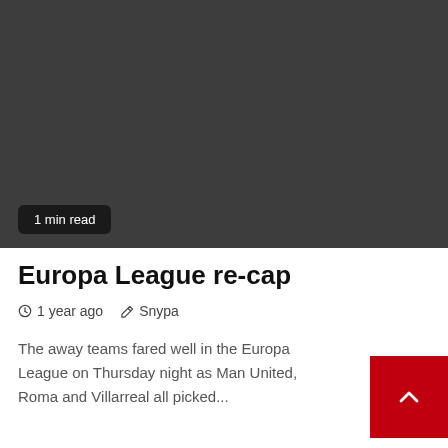[Figure (photo): Dark grey hero image placeholder for article thumbnail]
1 min read
Europa League re-cap
1 year ago  Snypa
The away teams fared well in the Europa League on Thursday night as Man United, Roma and Villarreal all picked...